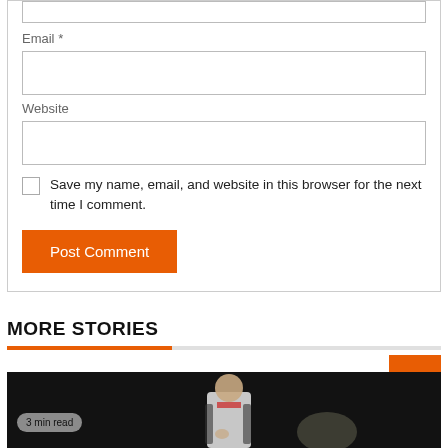Email *
Website
Save my name, email, and website in this browser for the next time I comment.
Post Comment
MORE STORIES
[Figure (photo): A man in a white sports shirt photographed in a dark setting, with a '3 min read' badge overlay]